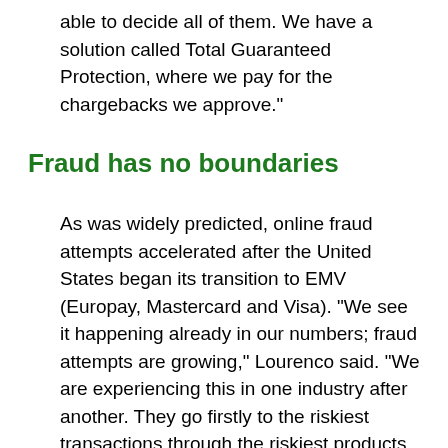able to decide all of them. We have a solution called Total Guaranteed Protection, where we pay for the chargebacks we approve."
Fraud has no boundaries
As was widely predicted, online fraud attempts accelerated after the United States began its transition to EMV (Europay, Mastercard and Visa). "We see it happening already in our numbers; fraud attempts are growing," Lourenco said. "We are experiencing this in one industry after another. They go firstly to the riskiest transactions through the riskiest products and then move to other industries." Lourenco said small to midsize businesses with an online presence are generally most affected, since larger retailers typically have the resources, tools, internal teams and fraud specialists to manage